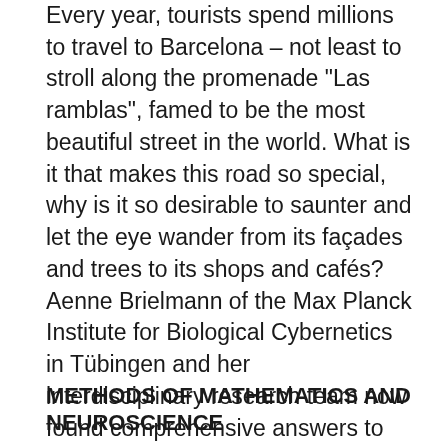Every year, tourists spend millions to travel to Barcelona – not least to stroll along the promenade "Las ramblas", famed to be the most beautiful street in the world. What is it that makes this road so special, why is it so desirable to saunter and let the eye wander from its façades and trees to its shops and cafés? Aenne Brielmann of the Max Planck Institute for Biological Cybernetics in Tübingen and her interdisciplinary research team now found comprehensive answers to these questions: "Urban planning and architecture operate usually in complete detachment from scientific results. But by now, we know a lot about how people perceive their environments, and we could use this knowledge accordingly," she explains the motivation for their study.
METHODS OF MATHEMATICS AND NEUROSCIENCE